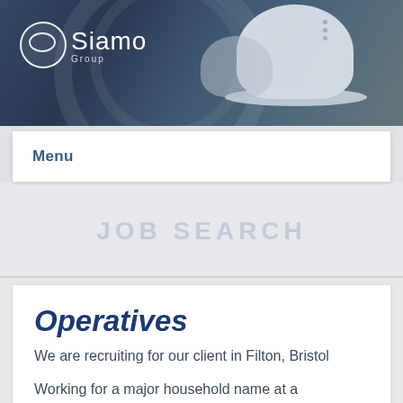[Figure (photo): Industrial facility background with a worker wearing a white hard hat, Siamo Group logo (white circle with inner oval and text 'Siamo') overlaid in top-left corner]
Menu
JOB SEARCH
Operatives
We are recruiting for our client in Filton, Bristol
Working for a major household name at a